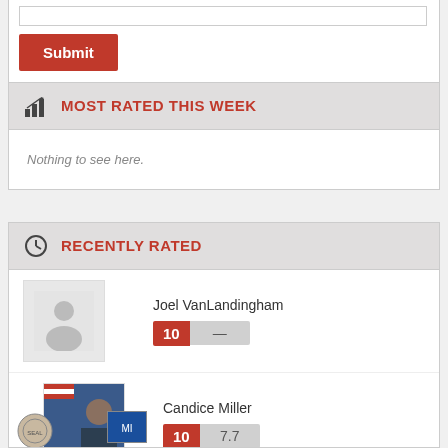MOST RATED THIS WEEK
Nothing to see here.
RECENTLY RATED
Joel VanLandingham
10 —
Candice Miller
10  7.7
Sam Graves